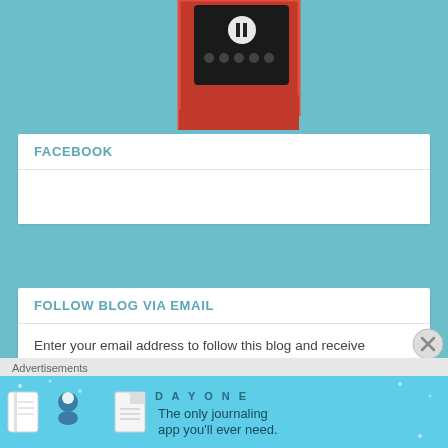[Figure (photo): Red smartphone on a red surface, showing the phone screen with pause button visible — top portion of the device]
FACEBOOK
FOLLOW BLOG VIA EMAIL
Enter your email address to follow this blog and receive notifications of new posts by email.
Email Address
Advertisements
[Figure (infographic): Day One journaling app advertisement: blue background with icons of a notebook, person, and document, with text 'DAY ONE' and 'The only journaling app you'll ever need.']